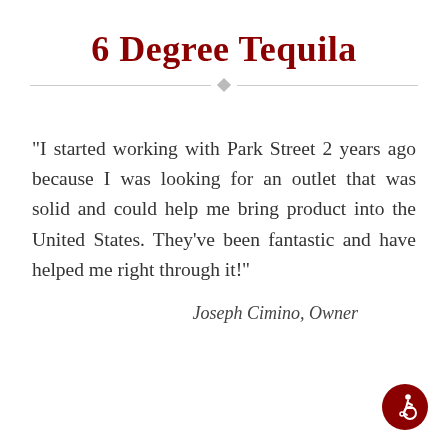6 Degree Tequila
“I started working with Park Street 2 years ago because I was looking for an outlet that was solid and could help me bring product into the United States. They’ve been fantastic and have helped me right through it!”
Joseph Cimino, Owner
[Figure (logo): Circular dark red icon with a person in a wheelchair (accessibility symbol)]